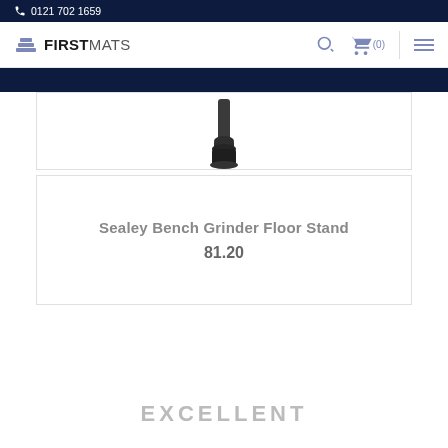0121 702 1659
[Figure (logo): First Mats logo with layered squares icon and FIRSTMATS text, plus search, cart (0), and hamburger menu icons]
[Figure (photo): Partial product image of a bench grinder floor stand component (dark cylindrical part) on white background]
Sealey Bench Grinder Floor Stand
81.20
EXCELLENT